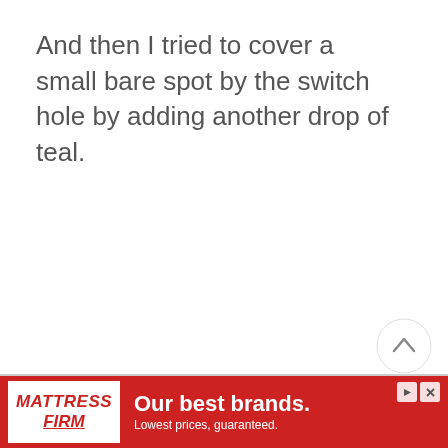And then I tried to cover a small bare spot by the switch hole by adding another drop of teal.
[Figure (screenshot): UI floating action buttons: upvote chevron button (white circle), vote count '23', heart/favorite button (white circle), and teal search button (teal circle with magnifying glass icon)]
[Figure (screenshot): Advertisement banner for Mattress Firm: white logo box with red italic 'Mattress Firm' text on left, red background with white text 'Our best brands. Lowest prices, guaranteed.' on right. Small play and close icons in top right corner.]